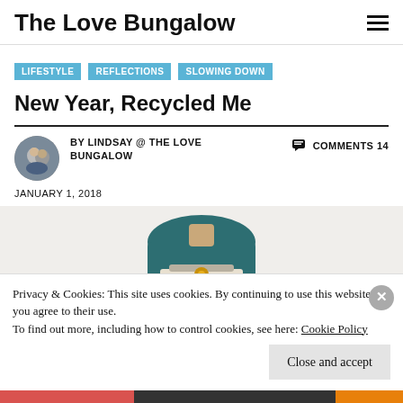The Love Bungalow
LIFESTYLE
REFLECTIONS
SLOWING DOWN
New Year, Recycled Me
BY LINDSAY @ THE LOVE BUNGALOW
COMMENTS 14
JANUARY 1, 2018
[Figure (photo): Person seen from behind wearing a dark teal shirt, holding a clipboard with a decorative gold element]
Privacy & Cookies: This site uses cookies. By continuing to use this website, you agree to their use.
To find out more, including how to control cookies, see here: Cookie Policy
Close and accept